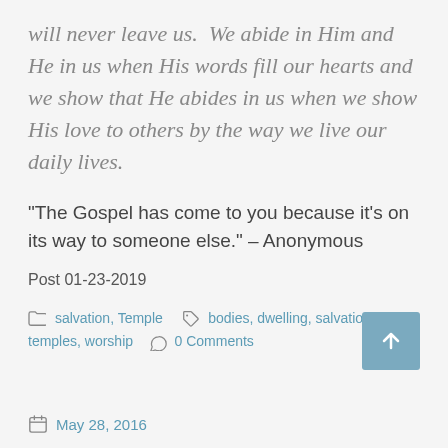will never leave us.  We abide in Him and He in us when His words fill our hearts and we show that He abides in us when we show His love to others by the way we live our daily lives.
“The Gospel has come to you because it’s on its way to someone else.” – Anonymous
Post 01-23-2019
salvation, Temple   bodies, dwelling, salvation, temples, worship   0 Comments
May 28, 2016